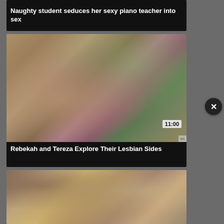Naughty student seduces her sexy piano teacher into sex
[Figure (photo): Blurred/abstract close-up thumbnail image with pink/purple tones and green background, duration badge showing 11:00]
Rebekah and Tereza Explore Their Lesbian Sides
[Figure (photo): Woman lying on a couch/sofa thumbnail image]